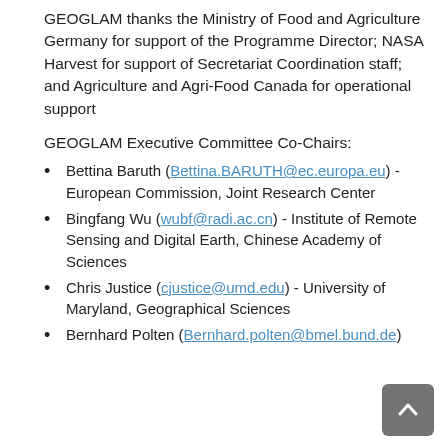GEOGLAM thanks the Ministry of Food and Agriculture Germany for support of the Programme Director; NASA Harvest for support of Secretariat Coordination staff; and Agriculture and Agri-Food Canada for operational support
GEOGLAM Executive Committee Co-Chairs:
Bettina Baruth (Bettina.BARUTH@ec.europa.eu) - European Commission, Joint Research Center
Bingfang Wu (wubf@radi.ac.cn) - Institute of Remote Sensing and Digital Earth, Chinese Academy of Sciences
Chris Justice (cjustice@umd.edu) - University of Maryland, Geographical Sciences
Bernhard Polten (Bernhard.polten@bmel.bund.de)